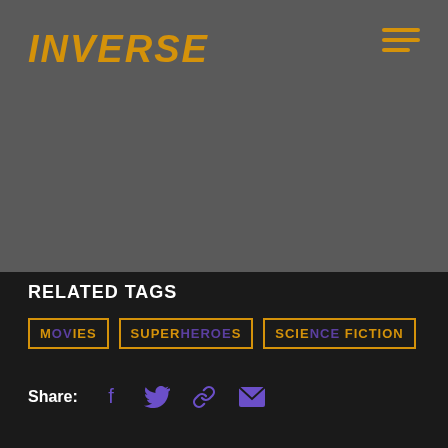INVERSE
RELATED TAGS
MOVIES
SUPERHEROES
SCIENCE FICTION
Share: